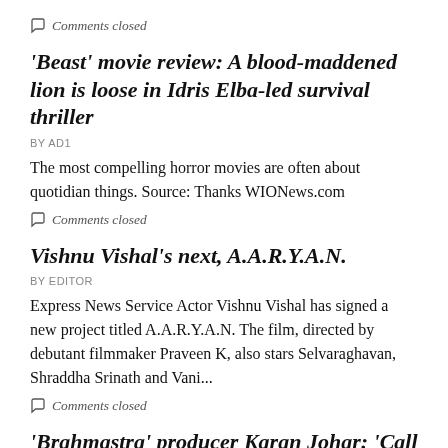Comments closed
'Beast' movie review: A blood-maddened lion is loose in Idris Elba-led survival thriller
BY AD1
The most compelling horror movies are often about quotidian things. Source: Thanks WIONews.com
Comments closed
Vishnu Vishal's next, A.A.R.Y.A.N.
BY EDITOR
Express News Service Actor Vishnu Vishal has signed a new project titled A.A.R.Y.A.N. The film, directed by debutant filmmaker Praveen K, also stars Selvaraghavan, Shraddha Srinath and Vani...
Comments closed
'Brahmastra' producer Karan Johar: 'Call it